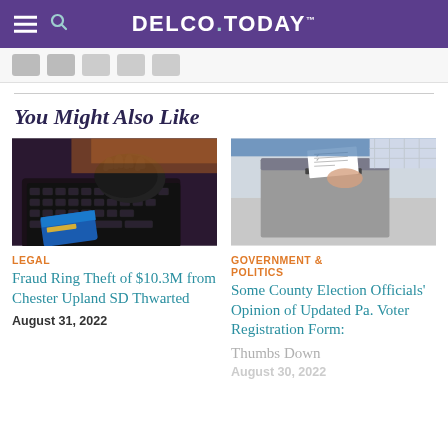DELCO.TODAY
You Might Also Like
[Figure (photo): A gloved hand typing on a laptop keyboard with a credit card nearby, dark cybercrime themed image]
LEGAL
Fraud Ring Theft of $10.3M from Chester Upland SD Thwarted
August 31, 2022
[Figure (photo): A hand inserting a ballot into a ballot drop box slot]
GOVERNMENT & POLITICS
Some County Election Officials' Opinion of Updated Pa. Voter Registration Form:
Thumbs Down
August 30, 2022